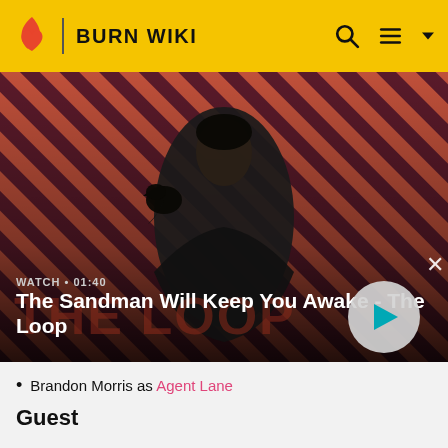BURN WIKI
[Figure (screenshot): Video banner showing a man in black cape with a crow on his shoulder against a red-and-black diagonal striped background. Title: The Sandman Will Keep You Awake - The Loop. Watch duration: 01:40.]
Brandon Morris as Agent Lane
Guest
Basil Wallace as Claude Laurent
James Black as Jean-Pierre Duman
Javier Morga as Gustavo